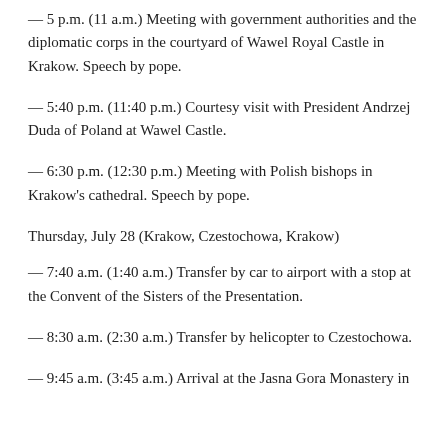— 5 p.m. (11 a.m.) Meeting with government authorities and the diplomatic corps in the courtyard of Wawel Royal Castle in Krakow. Speech by pope.
— 5:40 p.m. (11:40 p.m.) Courtesy visit with President Andrzej Duda of Poland at Wawel Castle.
— 6:30 p.m. (12:30 p.m.) Meeting with Polish bishops in Krakow's cathedral. Speech by pope.
Thursday, July 28 (Krakow, Czestochowa, Krakow)
— 7:40 a.m. (1:40 a.m.) Transfer by car to airport with a stop at the Convent of the Sisters of the Presentation.
— 8:30 a.m. (2:30 a.m.) Transfer by helicopter to Czestochowa.
— 9:45 a.m. (3:45 a.m.) Arrival at the Jasna Gora Monastery in